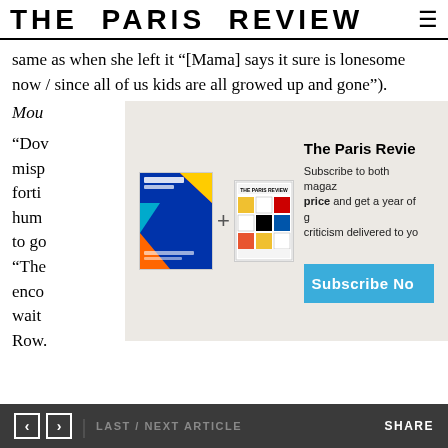THE PARIS REVIEW
same as when she left it (“[Mama] says it sure is lonesome now / since all of us kids are all growed up and gone”).
Mou… “Dov… misp… forti… hume… to go… “The… enco… wait… Row.
[Figure (screenshot): Subscription overlay showing The New York Review cover (colorful abstract design) plus The Paris Review cover (colorful grid), with heading 'The Paris Review', body text 'Subscribe to both magaz... price and get a year of g... criticism delivered to you...' and a blue 'Subscribe No...' button]
< > LAST / NEXT ARTICLE    SHARE